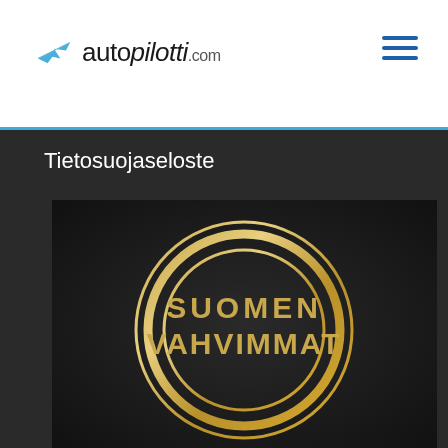autopilotti.com
Tietosuojaseloste
[Figure (logo): Suomen Vahvimmat badge — dark background with three concentric golden circles and text 'SUOMEN VAHVIMMAT' in gold lettering in the center]